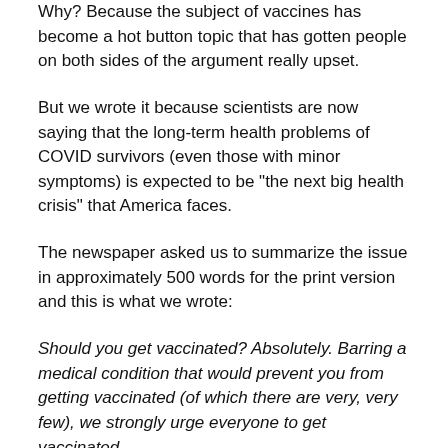Why? Because the subject of vaccines has become a hot button topic that has gotten people on both sides of the argument really upset.
But we wrote it because scientists are now saying that the long-term health problems of COVID survivors (even those with minor symptoms) is expected to be "the next big health crisis" that America faces.
The newspaper asked us to summarize the issue in approximately 500 words for the print version and this is what we wrote:
Should you get vaccinated? Absolutely. Barring a medical condition that would prevent you from getting vaccinated (of which there are very, very few), we strongly urge everyone to get vaccinated.
Why get a vaccination for something that only kills 1.7 out of every 100 it infects? For starters, 1.7% is a lot. AT&T stadium, where the Dallas Cowboys play, holds 105,000 fans. 1.7% of that is 1,785. Now comes a new study showing increased death rates within 6 months